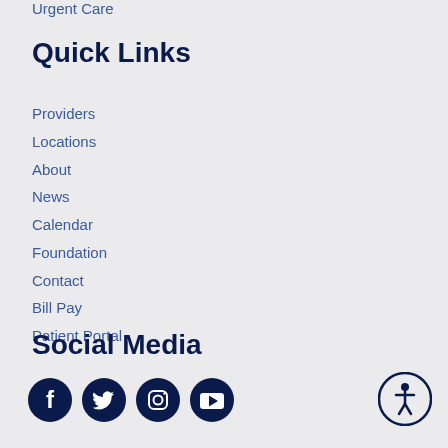Urgent Care
Quick Links
Providers
Locations
About
News
Calendar
Foundation
Contact
Bill Pay
Patient Portal
Social Media
[Figure (illustration): Social media icons: Facebook, Twitter, Instagram, YouTube, and an accessibility icon]